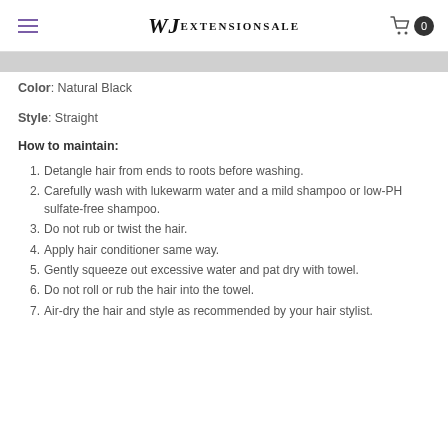WJ Extension Sale — navigation header with hamburger menu and cart
Color: Natural Black
Style: Straight
How to maintain:
1. Detangle hair from ends to roots before washing.
2. Carefully wash with lukewarm water and a mild shampoo or low-PH sulfate-free shampoo.
3. Do not rub or twist the hair.
4. Apply hair conditioner same way.
5. Gently squeeze out excessive water and pat dry with towel.
6. Do not roll or rub the hair into the towel.
7. Air-dry the hair and style as recommended by your hair stylist.